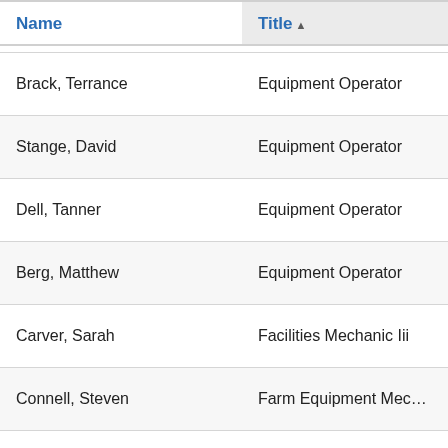| Name | Title ▲ | Contact | Unit |
| --- | --- | --- | --- |
| Brack, Terrance | Equipment Operator |  |  |
| Stange, David | Equipment Operator |  |  |
| Dell, Tanner | Equipment Operator |  |  |
| Berg, Matthew | Equipment Operator |  |  |
| Carver, Sarah | Facilities Mechanic Iii |  |  |
| Connell, Steven | Farm Equipment Mecha… |  |  |